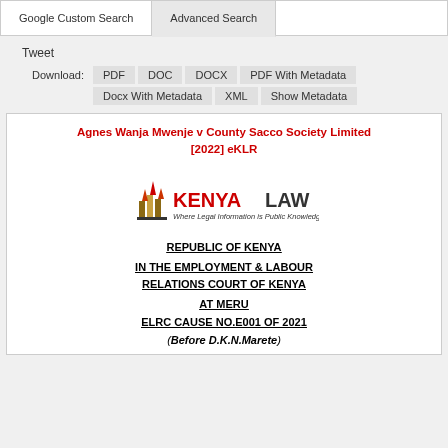Google Custom Search | Advanced Search
Tweet
Download: PDF  DOC  DOCX  PDF With Metadata  Docx With Metadata  XML  Show Metadata
Agnes Wanja Mwenje v County Sacco Society Limited [2022] eKLR
[Figure (logo): Kenya Law logo with text 'KENYA LAW' and tagline 'Where Legal Information is Public Knowledge']
REPUBLIC OF KENYA
IN THE EMPLOYMENT & LABOUR RELATIONS COURT OF KENYA
AT MERU
ELRC CAUSE NO.E001 OF 2021
(Before D.K.N.Marete)